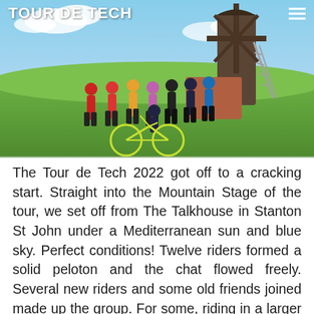TOUR DE TECH
[Figure (photo): Group photo of approximately twelve cyclists in cycling kit standing in front of a windmill on a sunny day, with green fields and blue sky in the background. A bicycle is visible in the foreground.]
The Tour de Tech 2022 got off to a cracking start. Straight into the Mountain Stage of the tour, we set off from The Talkhouse in Stanton St John under a Mediterranean sun and blue sky. Perfect conditions! Twelve riders formed a solid peloton and the chat flowed freely. Several new riders and some old friends joined made up the group. For some, riding in a larger group was a new